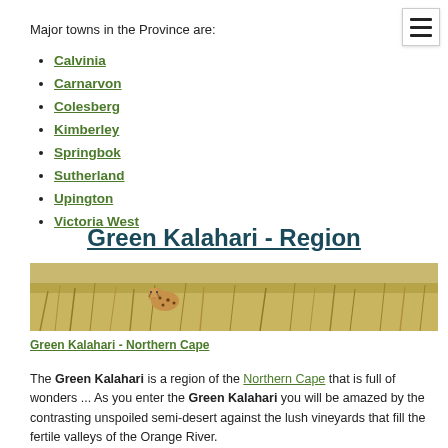Major towns in the Province are:
Calvinia
Carnarvon
Colesberg
Kimberley
Springbok
Sutherland
Upington
Victoria West
Green Kalahari - Region
[Figure (photo): A cheetah sitting in tall dry golden grassland of the Green Kalahari region, Northern Cape, South Africa]
Green Kalahari - Northern Cape
The Green Kalahari is a region of the Northern Cape that is full of wonders ...  As you enter the Green Kalahari you will be amazed by the contrasting unspoiled semi-desert against the lush vineyards that fill the fertile valleys of the Orange River.